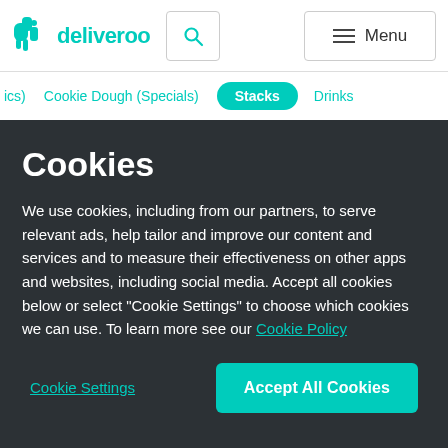[Figure (logo): Deliveroo logo with teal kangaroo icon and wordmark]
deliveroo | Search | Menu
ics) | Cookie Dough (Specials) | Stacks | Drinks
Cookies
We use cookies, including from our partners, to serve relevant ads, help tailor and improve our content and services and to measure their effectiveness on other apps and websites, including social media. Accept all cookies below or select “Cookie Settings” to choose which cookies we can use. To learn more see our Cookie Policy
Cookie Settings | Accept All Cookies